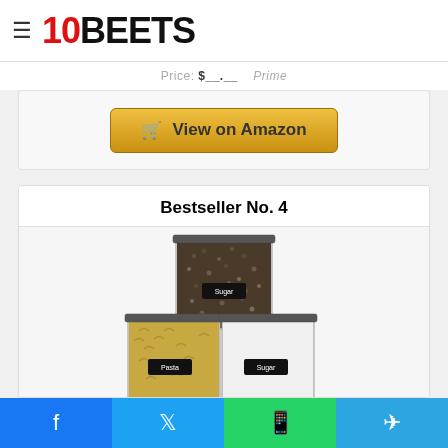10BEETS
View on Amazon
Bestseller No. 4
[Figure (photo): Three clear airtight food storage containers stacked, filled with grains, pasta, and a white substance labeled with chalkboard tags (Sugar, Pasta, Sugar)]
Large Food Storage Containers with Lids Airtight...
Facebook Twitter WhatsApp Telegram social share buttons